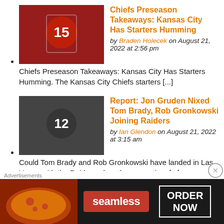Chiefs Preseason Takeaways: Kansas City Has Starters Humming by Braden Holecek on August 21, 2022 at 2:56 pm Chiefs Preseason Takeaways: Kansas City Has Starters Humming. The Kansas City Chiefs starters [...]
Report: Jon Gruden Nixed Tom Brady, Rob Gronkowski Joining Raiders by Ian Glendon on August 21, 2022 at 3:15 am Could Tom Brady and Rob Gronkowski have landed in Las Vegas with the Raiders when the seven-time [...]
Initial thoughts from Commanders vs. Chiefs by George Carmi on August 21, 2022 at 1:34 am
Advertisements
[Figure (other): Seamless food delivery advertisement banner with pizza image, Seamless logo in red, and ORDER NOW text in white bordered box on dark background]